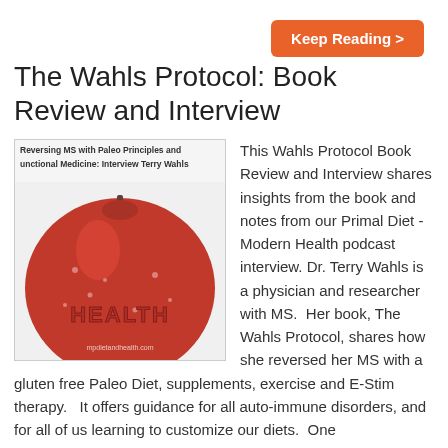Keep Reading >
The Wahls Protocol: Book Review and Interview
[Figure (photo): A close-up photo of a red apple with the word HEALTH imprinted on it, with a watermark reading mpdietandhealth.com and a header text: Reversing MS with Paleo Principles and Functional Medicine: Interview Terry Wahls]
This Wahls Protocol Book Review and Interview shares insights from the book and notes from our Primal Diet - Modern Health podcast interview. Dr. Terry Wahls is a physician and researcher with MS.  Her book, The Wahls Protocol, shares how she reversed her MS with a gluten free Paleo Diet, supplements, exercise and E-Stim therapy.   It offers guidance for all auto-immune disorders, and for all of us learning to customize our diets.  One